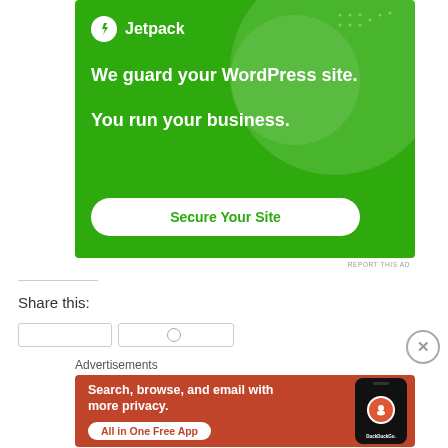[Figure (illustration): Jetpack advertisement banner on green background with logo, text 'We guard your WordPress site. You run your business.' and 'Secure Your Site' button]
REPORT THIS AD
Share this:
Advertisements
[Figure (illustration): DuckDuckGo advertisement banner on orange/red background with text 'Search, browse, and email with more privacy. All in One Free App' and phone mockup with DuckDuckGo logo]